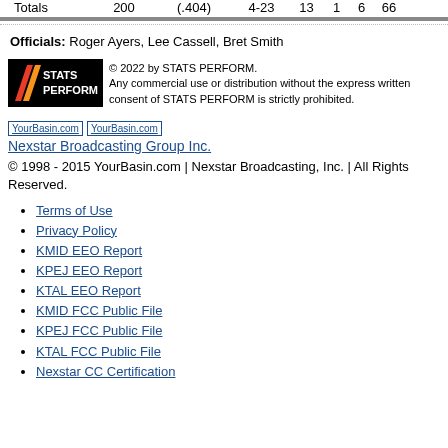| Totals | 200 | (.404) | 4-23 | 13 | 1 | 6 | 66 |
Officials: Roger Ayers, Lee Cassell, Bret Smith
[Figure (logo): STATS PERFORM logo with copyright notice: © 2022 by STATS PERFORM. Any commercial use or distribution without the express written consent of STATS PERFORM is strictly prohibited.]
YourBasin.com | YourBasin.com
Nexstar Broadcasting Group Inc.
© 1998 - 2015 YourBasin.com | Nexstar Broadcasting, Inc. | All Rights Reserved.
Terms of Use
Privacy Policy
KMID EEO Report
KPEJ EEO Report
KTAL EEO Report
KMID FCC Public File
KPEJ FCC Public File
KTAL FCC Public File
Nexstar CC Certification